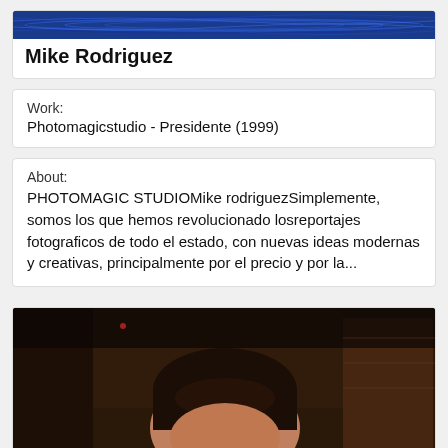[Figure (photo): Blue banner/header image with ripple/wave pattern]
Mike Rodriguez
Work:
Photomagicstudio - Presidente (1999)
About:
PHOTOMAGIC STUDIOMike rodriguezSimplemente, somos los que hemos revolucionado losreportajes fotograficos de todo el estado, con nuevas ideas modernas y creativas, principalmente por el precio y por la...
[Figure (photo): Photo of a person (Mike Rodriguez) sitting indoors, dark background, showing top of head and shoulders]